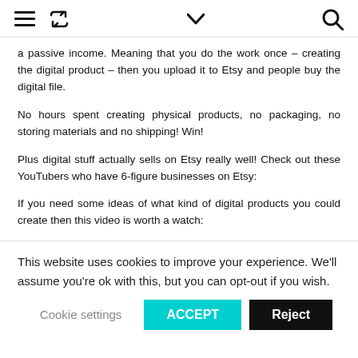≡ 🔁 ∨ 🔍
a passive income. Meaning that you do the work once – creating the digital product – then you upload it to Etsy and people buy the digital file.
No hours spent creating physical products, no packaging, no storing materials and no shipping! Win!
Plus digital stuff actually sells on Etsy really well! Check out these YouTubers who have 6-figure businesses on Etsy:
If you need some ideas of what kind of digital products you could create then this video is worth a watch:
This website uses cookies to improve your experience. We'll assume you're ok with this, but you can opt-out if you wish.
Cookie settings  ACCEPT  Reject